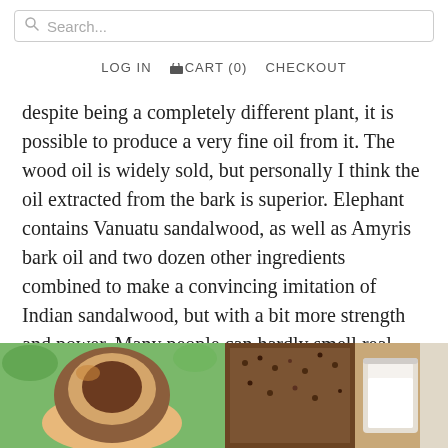Search...
LOG IN  CART (0)  CHECKOUT
despite being a completely different plant, it is possible to produce a very fine oil from it. The wood oil is widely sold, but personally I think the oil extracted from the bark is superior. Elephant contains Vanuatu sandalwood, as well as Amyris bark oil and two dozen other ingredients combined to make a convincing imitation of Indian sandalwood, but with a bit more strength and power. Many people can hardly smell real sandalwood, but almost everyone should be able to smell the blend used in Elephant.
[Figure (photo): Photo of a coconut shell held in hand against green background]
[Figure (photo): Photo of dark ingredients/grains next to a glass of white liquid (possibly milk or coconut milk)]